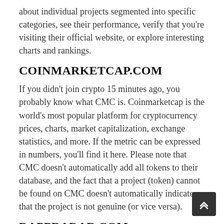about individual projects segmented into specific categories, see their performance, verify that you're visiting their official website, or explore interesting charts and rankings.
COINMARKETCAP.COM
If you didn't join crypto 15 minutes ago, you probably know what CMC is. Coinmarketcap is the world's most popular platform for cryptocurrency prices, charts, market capitalization, exchange statistics, and more. If the metric can be expressed in numbers, you'll find it here. Please note that CMC doesn't automatically add all tokens to their database, and the fact that a project (token) cannot be found on CMC doesn't automatically indicate that the project is not genuine (or vice versa).
DAPPRADAR.COM